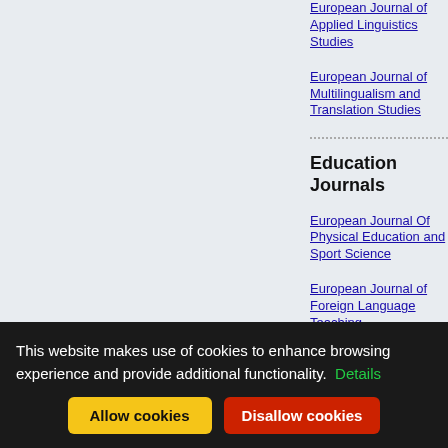European Journal of Applied Linguistics Studies
European Journal of Multilingualism and Translation Studies
Education Journals
European Journal Of Physical Education and Sport Science
European Journal of Foreign Language Teaching
This website makes use of cookies to enhance browsing experience and provide additional functionality. Details
Allow cookies | Disallow cookies